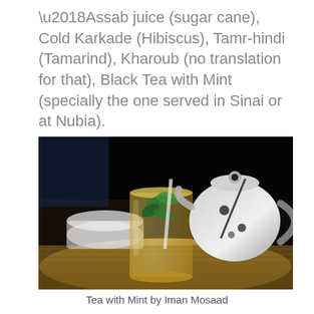‘Assab juice (sugar cane), Cold Karkade (Hibiscus), Tamr-hindi (Tamarind), Kharoub (no translation for that), Black Tea with Mint (specially the one served in Sinai or at Nubia).
[Figure (photo): A glass of tea with fresh mint leaves and a white teapot with black spots on a woven tray, dark background.]
Tea with Mint by Iman Mosaad
The complete list of Egyptian drinks it...